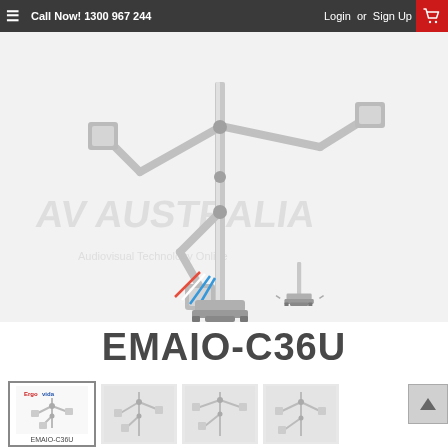≡  Call Now! 1300 967 244    Login  or  Sign Up  🛒
[Figure (photo): Triple monitor arm mount product photo (EMAIO-C36U) showing three articulating aluminum arms on a clamp base with cable management, plus a separate clamp base accessory. AV Australia watermark visible.]
EMAIO-C36U
[Figure (photo): Thumbnail 1 (selected): Ergovida EMAIO-C36U triple monitor arm product image with brand logo and label]
[Figure (photo): Thumbnail 2: Triple monitor arm alternate angle]
[Figure (photo): Thumbnail 3: Triple monitor arm another angle]
[Figure (photo): Thumbnail 4: Triple monitor arm side profile]